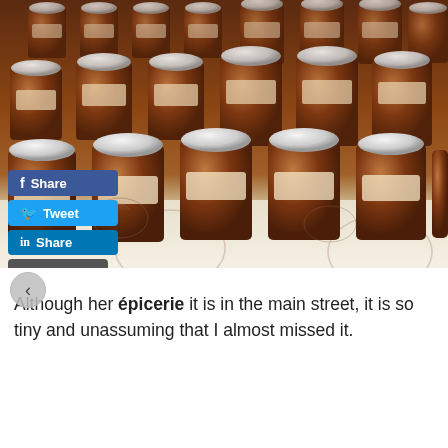[Figure (photo): Rows of brown jam/preserve jars with white lids and paper labels, displayed on a white tablecloth with floral print, at what appears to be a market stall or épicerie shop.]
Although her épicerie it is in the main street, it is so tiny and unassuming that I almost missed it.